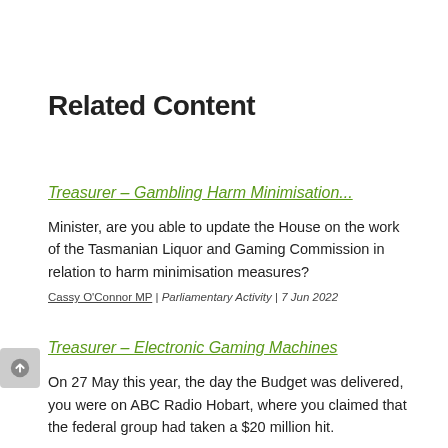Related Content
Treasurer – Gambling Harm Minimisation...
Minister, are you able to update the House on the work of the Tasmanian Liquor and Gaming Commission in relation to harm minimisation measures?
Cassy O'Connor MP | Parliamentary Activity | 7 Jun 2022
Treasurer – Electronic Gaming Machines
On 27 May this year, the day the Budget was delivered, you were on ABC Radio Hobart, where you claimed that the federal group had taken a $20 million hit.